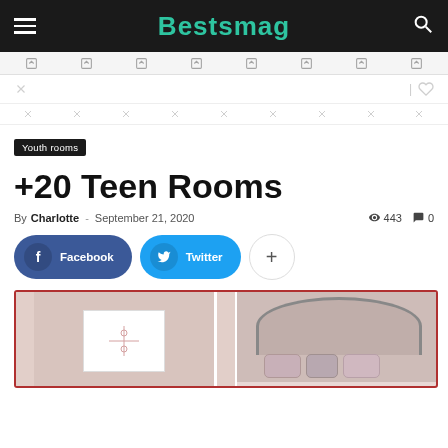Bestsmag
Youth rooms
+20 Teen Rooms
By Charlotte - September 21, 2020  443  0
Facebook  Twitter
[Figure (photo): Teen bedroom with pink walls, white wall art frame on the left, and a rounded upholstered headboard with decorative pillows on the right]